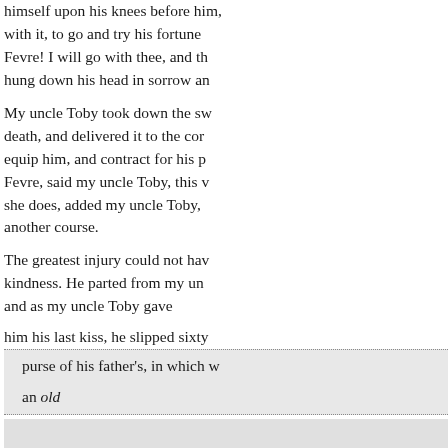himself upon his knees before him, with it, to go and try his fortune with Fevre! I will go with thee, and th hung down his head in sorrow an
My uncle Toby took down the sw death, and delivered it to the cor equip him, and contract for his p Fevre, said my uncle Toby, this w she does, added my uncle Toby, another course.
The greatest injury could not hav kindness. He parted from my un and as my uncle Toby gave
him his last kiss, he slipped sixty
purse of his father's, in which w
an old
Reyno.—The wind and rain are d green hill flies the inconstant su thy murmurs, O stream! but mor mourning for the dead. Bent is t